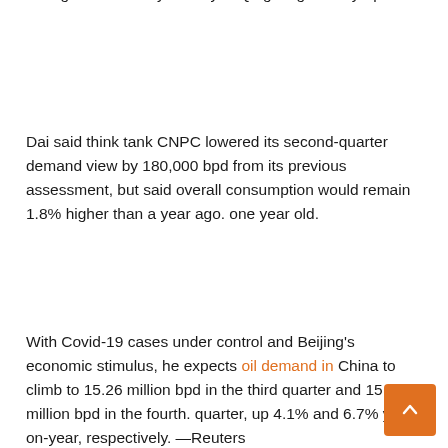during the three-day holiday in Qingming in early April.
Dai said think tank CNPC lowered its second-quarter demand view by 180,000 bpd from its previous assessment, but said overall consumption would remain 1.8% higher than a year ago. one year old.
With Covid-19 cases under control and Beijing's economic stimulus, he expects oil demand in China to climb to 15.26 million bpd in the third quarter and 15.37 million bpd in the fourth. quarter, up 4.1% and 6.7% year-on-year, respectively. —Reuters